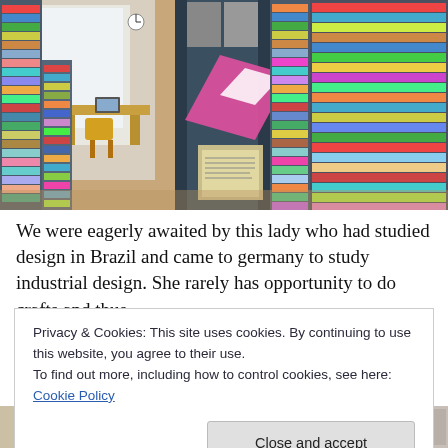[Figure (photo): Interior of a library with bookshelves on both sides, a study desk with a laptop in the background, and a pink decorative arrow-shaped fabric hanging on a bookshelf column in the center.]
We were eagerly awaited by this lady who had studied design in Brazil and came to germany to study industrial design. She rarely has opportunity to do crafts and thus
Privacy & Cookies: This site uses cookies. By continuing to use this website, you agree to their use.
To find out more, including how to control cookies, see here: Cookie Policy
[Figure (photo): Partial view of additional photos at the bottom of the page, cropped.]